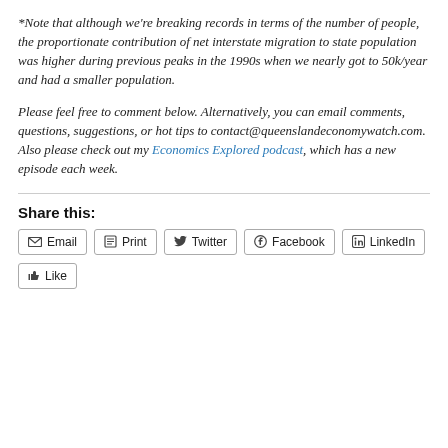*Note that although we're breaking records in terms of the number of people, the proportionate contribution of net interstate migration to state population was higher during previous peaks in the 1990s when we nearly got to 50k/year and had a smaller population.
Please feel free to comment below. Alternatively, you can email comments, questions, suggestions, or hot tips to contact@queenslandeconomywatch.com. Also please check out my Economics Explored podcast, which has a new episode each week.
Share this:
Email | Print | Twitter | Facebook | LinkedIn